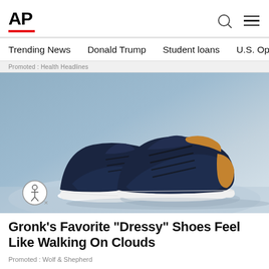AP
Trending News   Donald Trump   Student loans   U.S. Open Tenn
Promoted : Health Headlines
[Figure (photo): Two navy blue knit dress shoes with tan/brown leather heel accents and white soles, photographed on a light blue surface against a grey-blue background]
Gronk's Favorite "Dressy" Shoes Feel Like Walking On Clouds
Promoted : Wolf & Shepherd